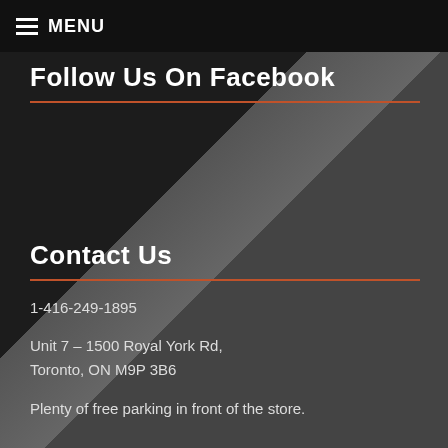MENU
Follow Us On Facebook
Contact Us
1-416-249-1895
Unit 7 – 1500 Royal York Rd, Toronto, ON M9P 3B6
Plenty of free parking in front of the store.